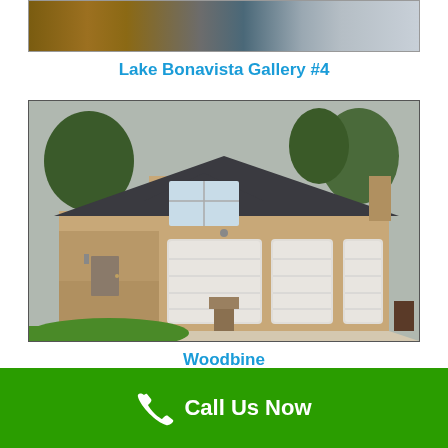[Figure (photo): Partial top strip of photos showing wood fence, siding, and windows]
Lake Bonavista Gallery #4
[Figure (photo): Exterior photo of a residential house with triple garage doors, dark roof, beige siding, brick accents, and green lawn]
Woodbine
Call Us Now